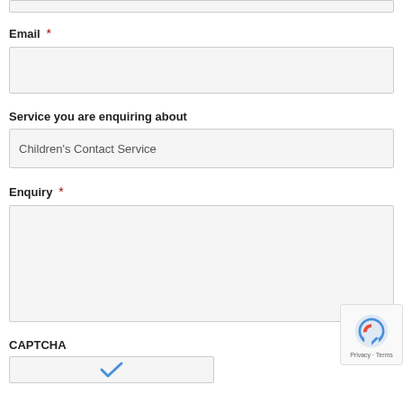(top input box)
Email *
Service you are enquiring about
Children's Contact Service
Enquiry *
CAPTCHA